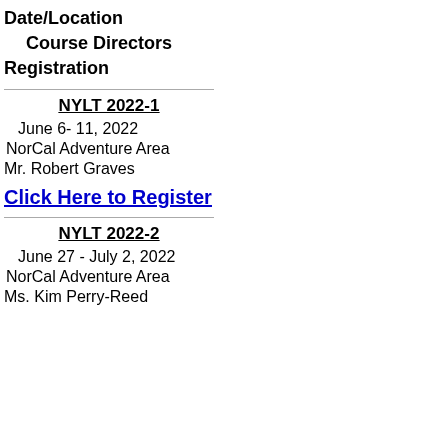Date/Location
Course Directors
Registration
NYLT 2022-1
June 6- 11, 2022
NorCal Adventure Area
Mr. Robert Graves
Click Here to Register
NYLT 2022-2
June 27 - July 2, 2022
NorCal Adventure Area
Ms. Kim Perry-Reed